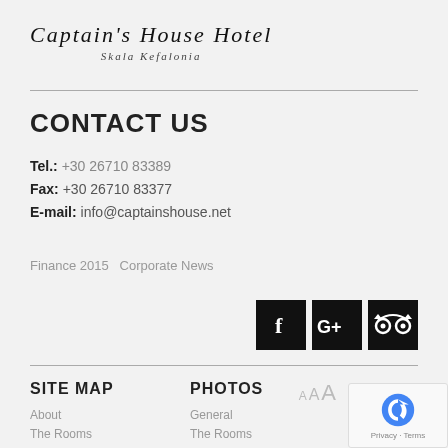Captain's House Hotel Skala Kefalonia
CONTACT US
Tel.: +30 26710 83389
Fax: +30 26710 83377
E-mail: info@captainshouse.net
Finance 2015   Corporate News
[Figure (logo): Facebook, Google+, TripAdvisor social media icons]
SITE MAP
PHOTOS
About
The Rooms
The Bar
General
The Rooms
Jewelry Shop